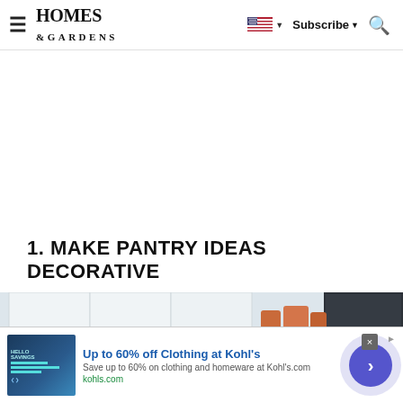Homes & Gardens — Subscribe
1. MAKE PANTRY IDEAS DECORATIVE
[Figure (photo): Kitchen pantry shelves with glass jars and containers on light and dark cabinetry]
[Figure (infographic): Advertisement banner: Up to 60% off Clothing at Kohl's — Save up to 60% on clothing and homeware at Kohl's.com — kohls.com]